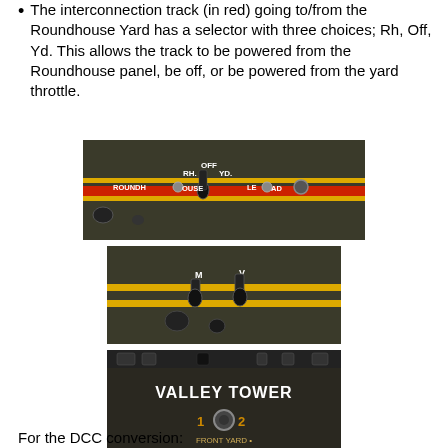The interconnection track (in red) going to/from the Roundhouse Yard has a selector with three choices; Rh, Off, Yd. This allows the track to be powered from the Roundhouse panel, be off, or be powered from the yard throttle.
[Figure (photo): Photo of a model railroad control panel showing toggle switches labeled RH, OFF, YD with text ROUNDHOUSE and LEAD visible, with a red track stripe]
[Figure (photo): Photo of a model railroad control panel showing two toggle switches labeled M and V with yellow stripes]
[Figure (photo): Photo of a model railroad control panel labeled VALLEY TOWER with a rotary selector showing 1 and 2 and text FRONT YARD]
For the DCC conversion: